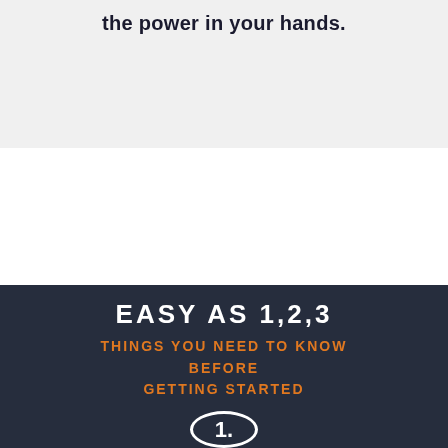the power in your hands.
EASY AS 1,2,3
THINGS YOU NEED TO KNOW BEFORE GETTING STARTED
1.